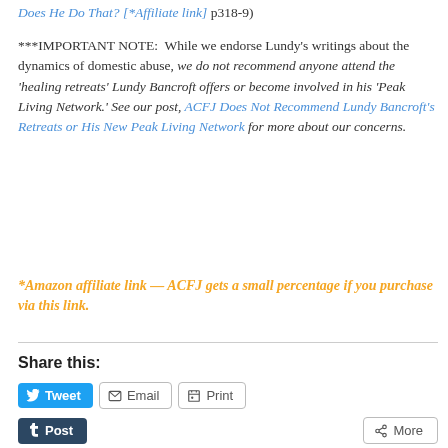Does He Do That? [*Affiliate link] p318-9)
***IMPORTANT NOTE:  While we endorse Lundy's writings about the dynamics of domestic abuse, we do not recommend anyone attend the 'healing retreats' Lundy Bancroft offers or become involved in his 'Peak Living Network.' See our post, ACFJ Does Not Recommend Lundy Bancroft's Retreats or His New Peak Living Network for more about our concerns.
*Amazon affiliate link — ACFJ gets a small percentage if you purchase via this link.
Share this:
Tweet  Email  Print  Post  More